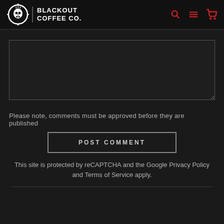BLACKOUT COFFEE CO.
[Figure (screenshot): Comment text area input box with dark background and light border]
Please note, comments must be approved before they are published
POST COMMENT
This site is protected by reCAPTCHA and the Google Privacy Policy and Terms of Service apply.